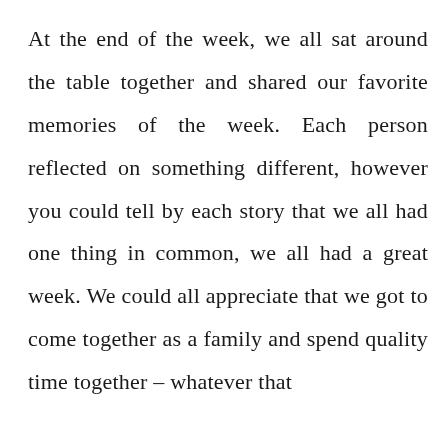At the end of the week, we all sat around the table together and shared our favorite memories of the week. Each person reflected on something different, however you could tell by each story that we all had one thing in common, we all had a great week. We could all appreciate that we got to come together as a family and spend quality time together – whatever that